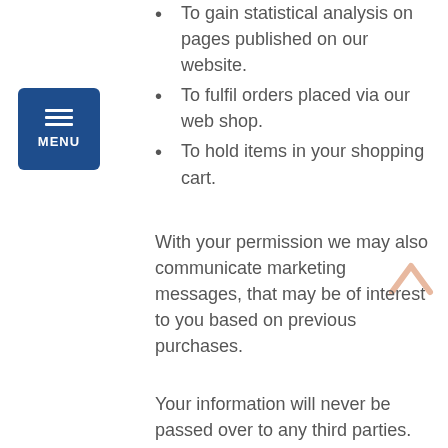To gain statistical analysis on pages published on our website.
To fulfil orders placed via our web shop.
To hold items in your shopping cart.
With your permission we may also communicate marketing messages, that may be of interest to you based on previous purchases.
Your information will never be passed over to any third parties. Rockworks Climbing will never use your contact details to send you marketing information without prior permission